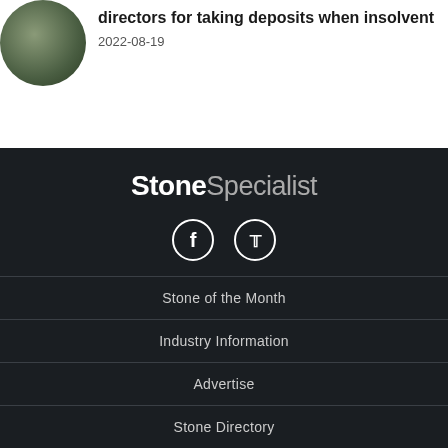[Figure (photo): Circular cropped photo of hands working with stone/material, person wearing green clothing]
directors for taking deposits when insolvent
2022-08-19
[Figure (logo): StoneSpecialist logo in white text on dark background]
[Figure (infographic): Facebook and Twitter social media icon circles in white on dark background]
Stone of the Month
Industry Information
Advertise
Stone Directory